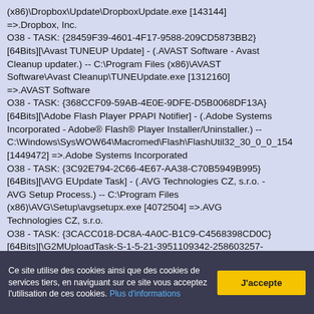(x86)\Dropbox\Update\DropboxUpdate.exe [143144] =>.Dropbox, Inc.
O38 - TASK: {28459F39-4601-4F17-9588-209CD5873BB2}[64Bits][\Avast TUNEUP Update] - (.AVAST Software - Avast Cleanup updater.) -- C:\Program Files (x86)\AVAST Software\Avast Cleanup\TUNEUpdate.exe [1312160] =>.AVAST Software
O38 - TASK: {368CCF09-59AB-4E0E-9DFE-D5B0068DF13A}[64Bits][\Adobe Flash Player PPAPI Notifier] - (.Adobe Systems Incorporated - Adobe® Flash® Player Installer/Uninstaller.) -- C:\Windows\SysWOW64\Macromed\Flash\FlashUtil32_30_0_0_154 [1449472] =>.Adobe Systems Incorporated
O38 - TASK: {3C92E794-2C66-4E67-AA38-C70B5949B995}[64Bits][\AVG EUpdate Task] - (.AVG Technologies CZ, s.r.o. - AVG Setup Process.) -- C:\Program Files (x86)\AVG\Setup\avgsetupx.exe [4072504] =>.AVG Technologies CZ, s.r.o.
O38 - TASK: {3CACC018-DC8A-4A0C-B1C9-C4568398CD0C}[64Bits][\G2MUploadTask-S-1-5-21-3951109342-258603257-
Ce site utilise des cookies ainsi que des cookies de services tiers, en naviguant sur ce site vous acceptez l'utilisation de ces cookies. Plus d'informations
J'accepte